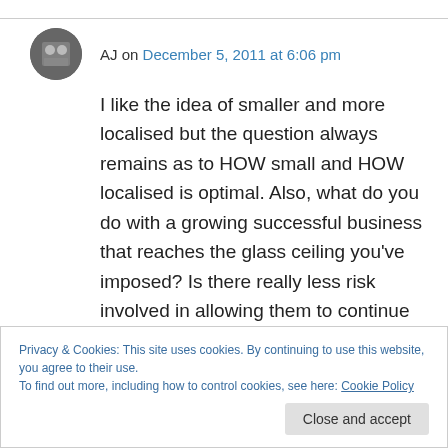AJ on December 5, 2011 at 6:06 pm
I like the idea of smaller and more localised but the question always remains as to HOW small and HOW localised is optimal. Also, what do you do with a growing successful business that reaches the glass ceiling you've imposed? Is there really less risk involved in allowing them to continue building what they've done successfully thus far than there is in forcing them to diversify
Privacy & Cookies: This site uses cookies. By continuing to use this website, you agree to their use.
To find out more, including how to control cookies, see here: Cookie Policy